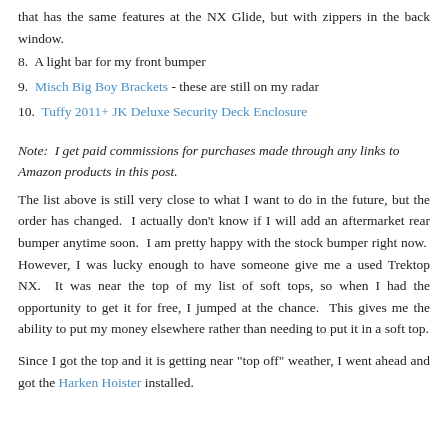7. Soft Top of some kind. I am hoping Bestop comes out with a top that has the same features at the NX Glide, but with zippers in the back window.
8. A light bar for my front bumper
9. Misch Big Boy Brackets - these are still on my radar
10. Tuffy 2011+ JK Deluxe Security Deck Enclosure
Note: I get paid commissions for purchases made through any links to Amazon products in this post.
The list above is still very close to what I want to do in the future, but the order has changed. I actually don't know if I will add an aftermarket rear bumper anytime soon. I am pretty happy with the stock bumper right now. However, I was lucky enough to have someone give me a used Trektop NX. It was near the top of my list of soft tops, so when I had the opportunity to get it for free, I jumped at the chance. This gives me the ability to put my money elsewhere rather than needing to put it in a soft top.
Since I got the top and it is getting near "top off" weather, I went ahead and got the Harken Hoister installed.